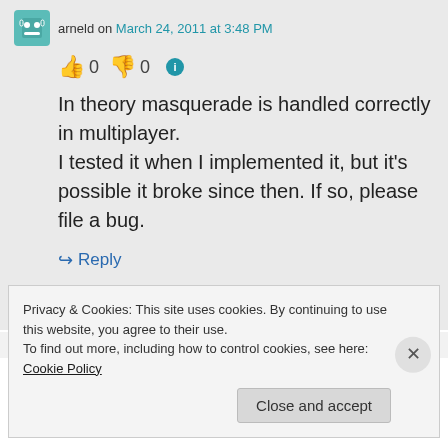arneld on March 24, 2011 at 3:48 PM
👍 0 👎 0 ℹ
In theory masquerade is handled correctly in multiplayer. I tested it when I implemented it, but it's possible it broke since then. If so, please file a bug.
↪ Reply
Privacy & Cookies: This site uses cookies. By continuing to use this website, you agree to their use.
To find out more, including how to control cookies, see here: Cookie Policy
Close and accept